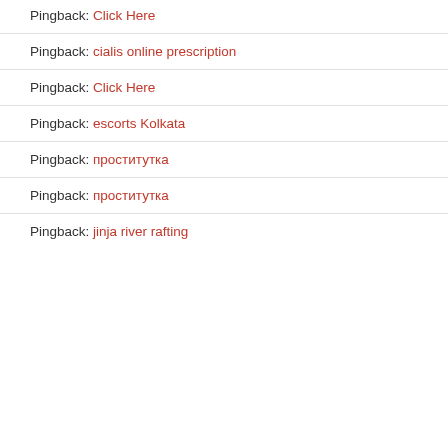Pingback: Click Here
Pingback: cialis online prescription
Pingback: Click Here
Pingback: escorts Kolkata
Pingback: проститутка
Pingback: проститутка
Pingback: jinja river rafting